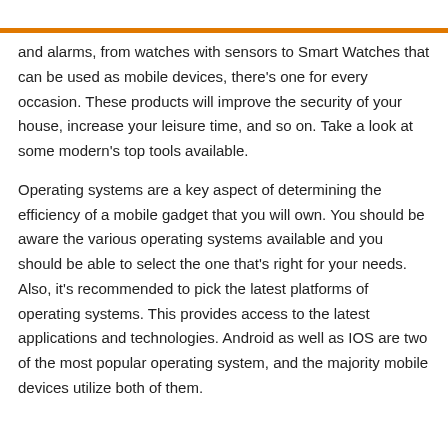and alarms, from watches with sensors to Smart Watches that can be used as mobile devices, there's one for every occasion. These products will improve the security of your house, increase your leisure time, and so on. Take a look at some modern's top tools available.
Operating systems are a key aspect of determining the efficiency of a mobile gadget that you will own. You should be aware the various operating systems available and you should be able to select the one that's right for your needs. Also, it's recommended to pick the latest platforms of operating systems. This provides access to the latest applications and technologies. Android as well as IOS are two of the most popular operating system, and the majority mobile devices utilize both of them.